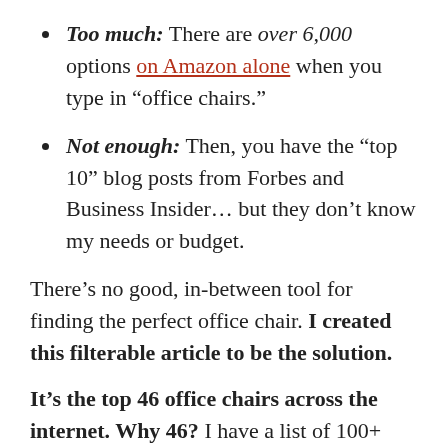Too much: There are over 6,000 options on Amazon alone when you type in “office chairs.”
Not enough: Then, you have the “top 10” blog posts from Forbes and Business Insider… but they don’t know my needs or budget.
There’s no good, in-between tool for finding the perfect office chair. I created this filterable article to be the solution.
It’s the top 46 office chairs across the internet. Why 46? I have a list of 100+ remote work experts who I occasionally ask simple